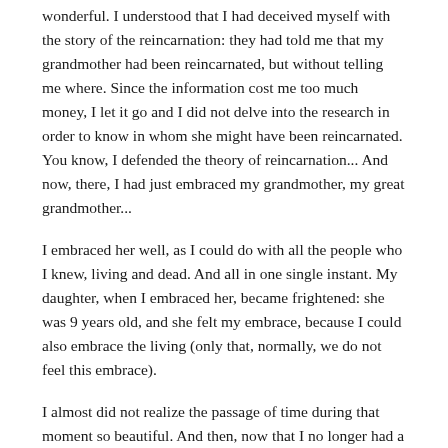wonderful. I understood that I had deceived myself with the story of the reincarnation: they had told me that my grandmother had been reincarnated, but without telling me where. Since the information cost me too much money, I let it go and I did not delve into the research in order to know in whom she might have been reincarnated. You know, I defended the theory of reincarnation... And now, there, I had just embraced my grandmother, my great grandmother...
I embraced her well, as I could do with all the people who I knew, living and dead. And all in one single instant. My daughter, when I embraced her, became frightened: she was 9 years old, and she felt my embrace, because I could also embrace the living (only that, normally, we do not feel this embrace).
I almost did not realize the passage of time during that moment so beautiful. And then, now that I no longer had a body, my senses had gone, and...